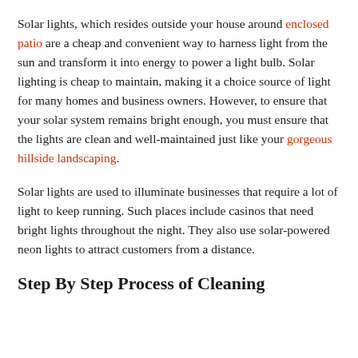Solar lights, which resides outside your house around enclosed patio are a cheap and convenient way to harness light from the sun and transform it into energy to power a light bulb. Solar lighting is cheap to maintain, making it a choice source of light for many homes and business owners. However, to ensure that your solar system remains bright enough, you must ensure that the lights are clean and well-maintained just like your gorgeous hillside landscaping.
Solar lights are used to illuminate businesses that require a lot of light to keep running. Such places include casinos that need bright lights throughout the night. They also use solar-powered neon lights to attract customers from a distance.
Step By Step Process of Cleaning